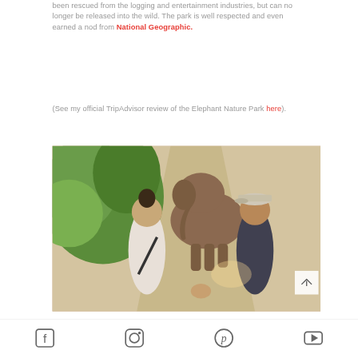been rescued from the logging and entertainment industries, but can no longer be released into the wild. The park is well respected and even earned a nod from National Geographic.
(See my official TripAdvisor review of the Elephant Nature Park here).
[Figure (photo): A couple holding hands and smiling at each other outdoors with a large elephant visible in the background on a sunny day at Elephant Nature Park.]
Social media icons: Facebook, Instagram, Pinterest, YouTube